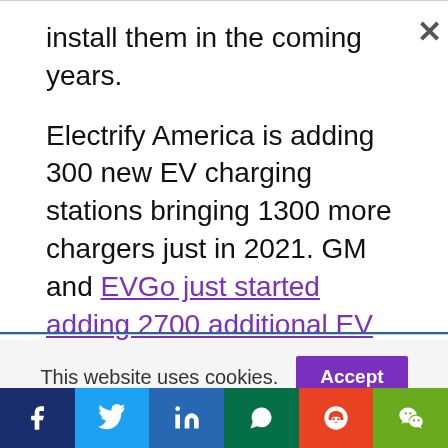install them in the coming years.
Electrify America is adding 300 new EV charging stations bringing 1300 more chargers just in 2021. GM and EVGo just started adding 2700 additional EV fast chargers to the 14000 they already have in the US.
This website uses cookies.
[Figure (other): Social media share buttons: Facebook, Twitter, LinkedIn, WhatsApp, Reddit, WeChat]